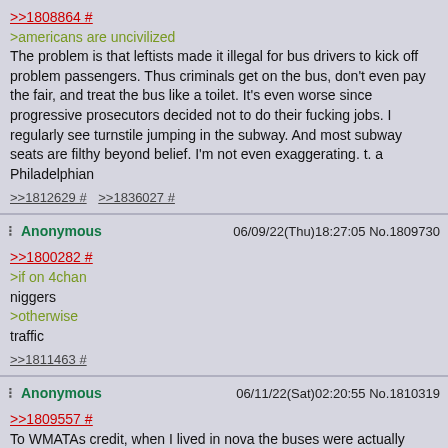>>1808864 #
>americans are uncivilized
The problem is that leftists made it illegal for bus drivers to kick off problem passengers. Thus criminals get on the bus, don't even pay the fair, and treat the bus like a toilet. It's even worse since progressive prosecutors decided not to do their fucking jobs. I regularly see turnstile jumping in the subway. And most subway seats are filthy beyond belief. I'm not even exaggerating. t. a Philadelphian
>>1812629 # >>1836027 #
Anonymous 06/09/22(Thu)18:27:05 No.1809730
>>1800282 #
>if on 4chan
niggers
>otherwise
traffic
>>1811463 #
Anonymous 06/11/22(Sat)02:20:55 No.1810319
>>1809557 #
To WMATAs credit, when I lived in nova the buses were actually relatively clean and pleasant, but by far the biggest hazard I saw were psychotic niggers on Jefferson Davis Highway.